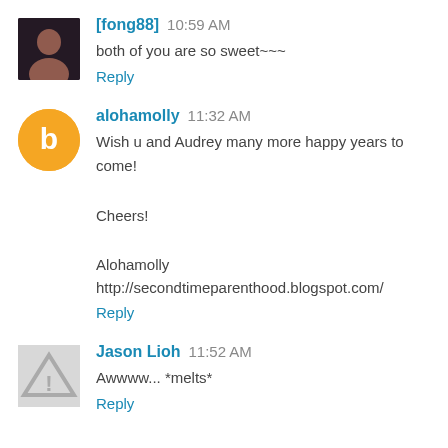[fong88] 10:59 AM
both of you are so sweet~~~
Reply
alohamolly 11:32 AM
Wish u and Audrey many more happy years to come!

Cheers!

Alohamolly
http://secondtimeparenthood.blogspot.com/
Reply
Jason Lioh 11:52 AM
Awwww... *melts*
Reply